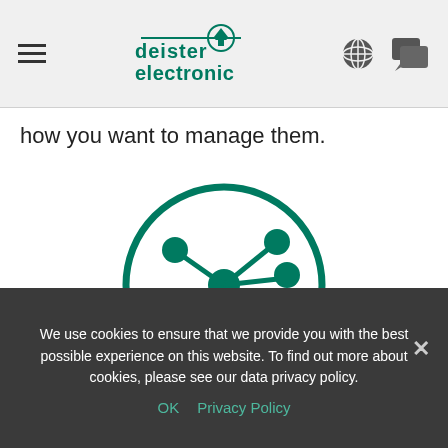deister electronic
how you want to manage them.
[Figure (illustration): Network/hub icon: a green circle outline containing a central filled circle with 5 lines radiating outward, each ending in a smaller filled circle, representing a network hub or access control system.]
We use cookies to ensure that we provide you with the best possible experience on this website. To find out more about cookies, please see our data privacy policy.
OK   Privacy Policy